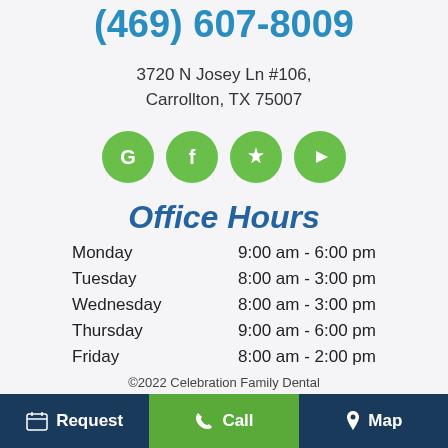(469) 607-8009
3720 N Josey Ln #106, Carrollton, TX 75007
[Figure (infographic): Four green circular social media icons: Google (G), Facebook (f), Yelp (burst star), YouTube (play button)]
Office Hours
| Day | Hours |
| --- | --- |
| Monday | 9:00 am - 6:00 pm |
| Tuesday | 8:00 am - 3:00 pm |
| Wednesday | 8:00 am - 3:00 pm |
| Thursday | 9:00 am - 6:00 pm |
| Friday | 8:00 am - 2:00 pm |
©2022 Celebration Family Dental
Request | Call | Map